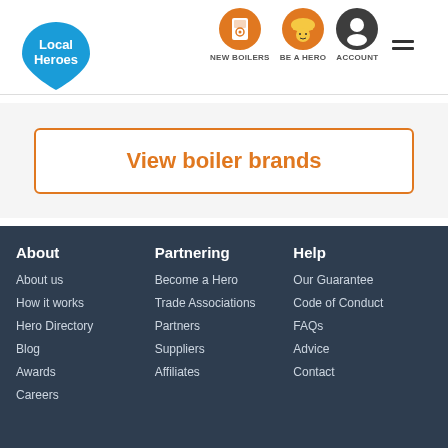[Figure (logo): Local Heroes logo — blue teardrop/location pin shape with white text 'Local Heroes']
[Figure (infographic): Navigation icons: New Boilers (boiler icon, orange circle), Be a Hero (construction worker icon, orange circle), Account (person icon, dark circle), hamburger menu]
View boiler brands
About
About us
How it works
Hero Directory
Blog
Awards
Careers
Partnering
Become a Hero
Trade Associations
Partners
Suppliers
Affiliates
Help
Our Guarantee
Code of Conduct
FAQs
Advice
Contact
Change region: